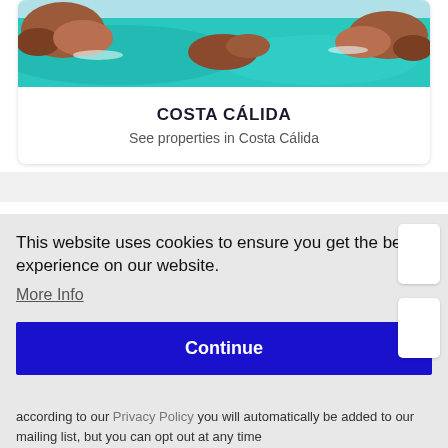[Figure (photo): Aerial view of rocky coastline with turquoise sea water]
COSTA CÁLIDA
See properties in Costa Cálida
This website uses cookies to ensure you get the best experience on our website.
More Info
Continue
according to our Privacy Policy you will automatically be added to our mailing list, but you can opt out at any time
Subscribe